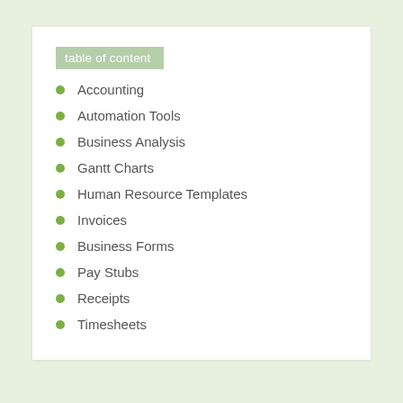table of content
Accounting
Automation Tools
Business Analysis
Gantt Charts
Human Resource Templates
Invoices
Business Forms
Pay Stubs
Receipts
Timesheets